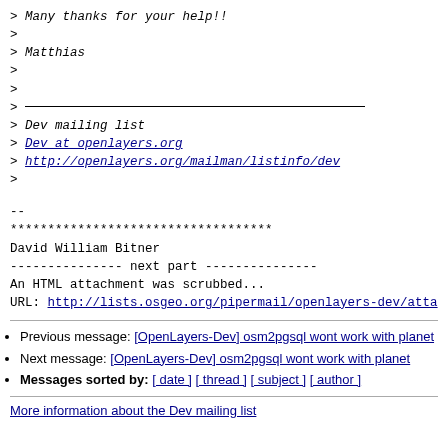> Many thanks for your help!!
>
> Matthias
>
>
> ___
> Dev mailing list
> Dev at openlayers.org
> http://openlayers.org/mailman/listinfo/dev
>
--
***********************************
David William Bitner
--------------- next part ---------------
An HTML attachment was scrubbed...
URL: http://lists.osgeo.org/pipermail/openlayers-dev/atta
Previous message: [OpenLayers-Dev] osm2pgsql wont work with planet
Next message: [OpenLayers-Dev] osm2pgsql wont work with planet
Messages sorted by: [ date ] [ thread ] [ subject ] [ author ]
More information about the Dev mailing list